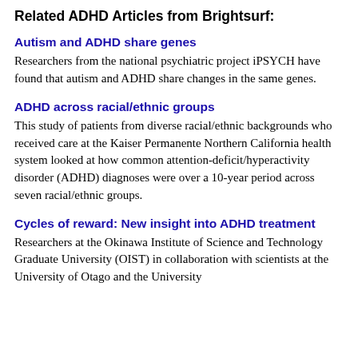Related ADHD Articles from Brightsurf:
Autism and ADHD share genes
Researchers from the national psychiatric project iPSYCH have found that autism and ADHD share changes in the same genes.
ADHD across racial/ethnic groups
This study of patients from diverse racial/ethnic backgrounds who received care at the Kaiser Permanente Northern California health system looked at how common attention-deficit/hyperactivity disorder (ADHD) diagnoses were over a 10-year period across seven racial/ethnic groups.
Cycles of reward: New insight into ADHD treatment
Researchers at the Okinawa Institute of Science and Technology Graduate University (OIST) in collaboration with scientists at the University of Otago and the University